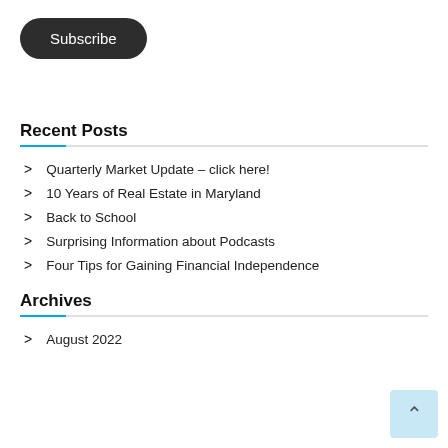Subscribe
Recent Posts
Quarterly Market Update – click here!
10 Years of Real Estate in Maryland
Back to School
Surprising Information about Podcasts
Four Tips for Gaining Financial Independence
Archives
August 2022